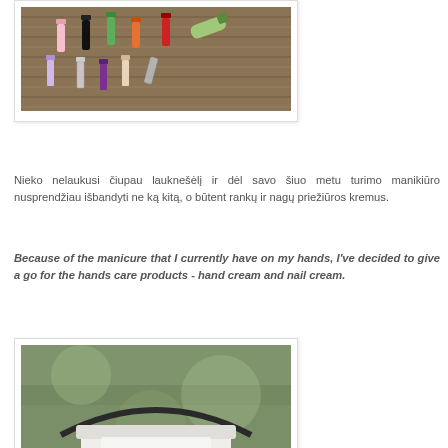[Figure (photo): Overhead photo of multiple nail polish bottles and nail care products scattered on a wooden surface]
Nieko nelaukusi čiupau lauknešėlį ir dėl savo šiuo metu turimo manikiūro nusprendžiau išbandyti ne ką kitą, o būtent rankų ir nagų priežiūros kremus.
Because of the manicure that I currently have on my hands, I've decided to give a go for the hands care products - hand cream and nail cream.
[Figure (photo): Close-up photo of a hand cream or nail cream product container, partially visible, with blurred green background]